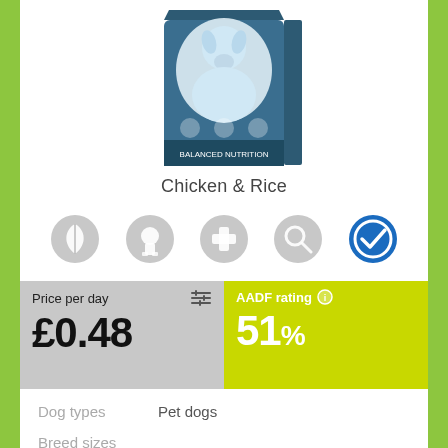[Figure (photo): Product photo of a dog food bag — blue packaging with dog illustration, Chicken & Rice flavor]
Chicken & Rice
[Figure (infographic): Five circular icon buttons: leaf (natural), meat/game, medical cross, search/magnify, and a blue checkmark (active/selected)]
| Price per day | AADF rating |
| --- | --- |
| £0.48 | 51% |
Dog types   Pet dogs
Breed sizes